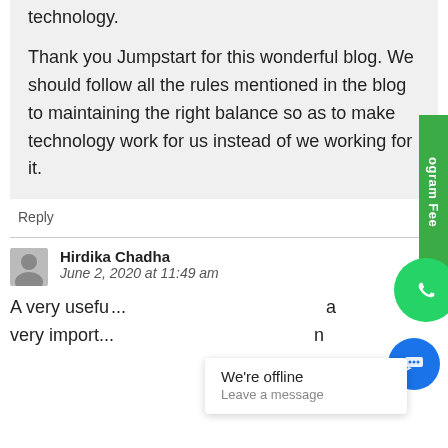technology.
Thank you Jumpstart for this wonderful blog. We should follow all the rules mentioned in the blog to maintaining the right balance so as to make technology work for us instead of we working for it.
Reply
Hirdika Chadha
June 2, 2020 at 11:49 am
A very usefu... very import...n
[Figure (infographic): Green vertical side tab with text 'ogram Fee' rotated, WhatsApp green phone icon button, and blue chat bubble button]
We're offline
Leave a message